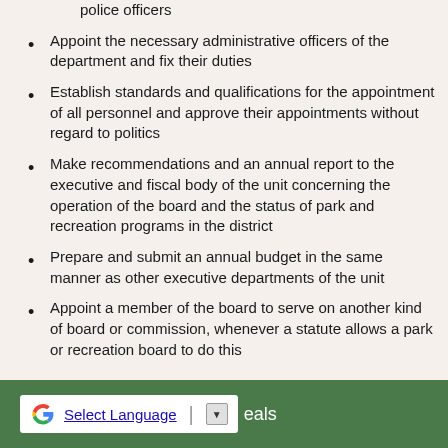police officers
Appoint the necessary administrative officers of the department and fix their duties
Establish standards and qualifications for the appointment of all personnel and approve their appointments without regard to politics
Make recommendations and an annual report to the executive and fiscal body of the unit concerning the operation of the board and the status of park and recreation programs in the district
Prepare and submit an annual budget in the same manner as other executive departments of the unit
Appoint a member of the board to serve on another kind of board or commission, whenever a statute allows a park or recreation board to do this
Select Language | eals